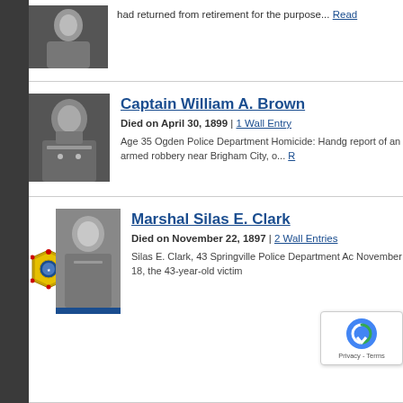[Figure (photo): Black and white portrait photo of an older man in formal attire, partial view at top of page]
had returned from retirement for the purpose... Read
[Figure (photo): Black and white portrait photo of Captain William A. Brown in police uniform]
Captain William A. Brown
Died on April 30, 1899 | 1 Wall Entry
Age 35 Ogden Police Department Homicide: Handg report of an armed robbery near Brigham City, o... R
[Figure (logo): Police badge/seal logo for Springville Police Department]
[Figure (photo): Black and white portrait photo of Marshal Silas E. Clark]
Marshal Silas E. Clark
Died on November 22, 1897 | 2 Wall Entries
Silas E. Clark, 43 Springville Police Department Ac November 18, the 43-year-old victim